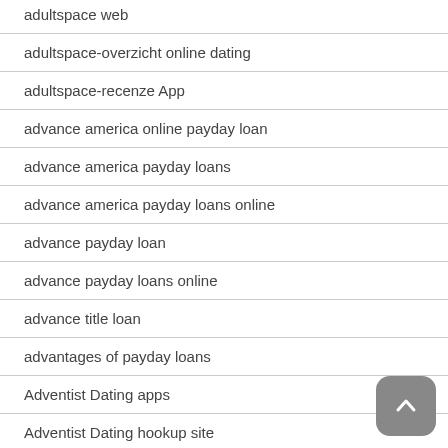adultspace web
adultspace-overzicht online dating
adultspace-recenze App
advance america online payday loan
advance america payday loans
advance america payday loans online
advance payday loan
advance payday loans online
advance title loan
advantages of payday loans
Adventist Dating apps
Adventist Dating hookup site
Adventist Dating visitors